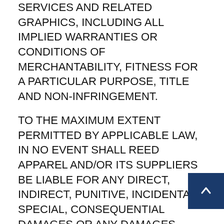SERVICES AND RELATED GRAPHICS, INCLUDING ALL IMPLIED WARRANTIES OR CONDITIONS OF MERCHANTABILITY, FITNESS FOR A PARTICULAR PURPOSE, TITLE AND NON-INFRINGEMENT.
TO THE MAXIMUM EXTENT PERMITTED BY APPLICABLE LAW, IN NO EVENT SHALL REED APPAREL AND/OR ITS SUPPLIERS BE LIABLE FOR ANY DIRECT, INDIRECT, PUNITIVE, INCIDENTAL, SPECIAL, CONSEQUENTIAL DAMAGES OR ANY DAMAGES WHATSOEVER INCLUDING, WITHOUT LIMITATION, DAMAGES FOR LOSS OF USE, DATA OR PROFITS, ARISING OUT OF OR IN ANY WAY CONNECTED WITH THE USE OR PERFORMANCE OF THE SITE, WITH THE DELAY OR INABILITY USE THE SITE OR RELATED SERVICES, THE PROVISION OF OR FAILURE TO PROVIDE SERVICES, OR FOR ANY INFORMATION